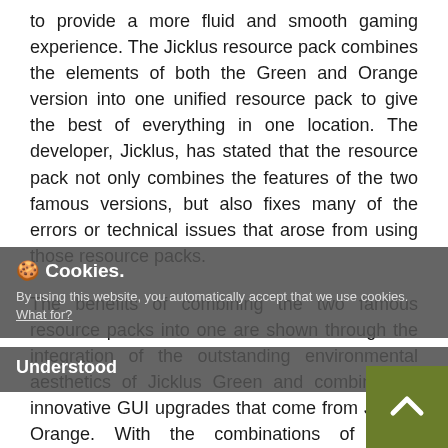to provide a more fluid and smooth gaming experience. The Jicklus resource pack combines the elements of both the Green and Orange version into one unified resource pack to give the best of everything in one location. The developer, Jicklus, has stated that the resource pack not only combines the features of the two famous versions, but also fixes many of the errors or technical issues that arose from using those resource packs.
The benefits of combining the two famous resource packs into one are shown through the integration of the outstanding environmental aesthetics of Jicklus Green and combine the innovative GUI upgrades that come from Jicklus Orange. With the combinations of these elements, the game is truly outstanding. The clean interface and the minimal and beautiful textures combine to give you a fresh perspective on Minecraft as you know it. Feel immersed in the natural biomes of Minecraft with the outstanding coloring of environmental blocks that transform the world around you. Gamers with all types of computers will find it easy to run the Jicklus resource pack because it is
🍪 Cookies.
By using this website, you automatically accept that we use cookies. What for?
Understood